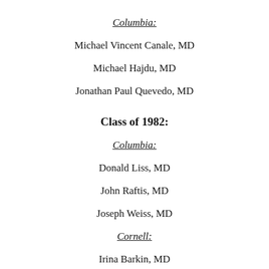Columbia:
Michael Vincent Canale, MD
Michael Hajdu, MD
Jonathan Paul Quevedo, MD
Class of 1982:
Columbia:
Donald Liss, MD
John Raftis, MD
Joseph Weiss, MD
Cornell:
Irina Barkin, MD